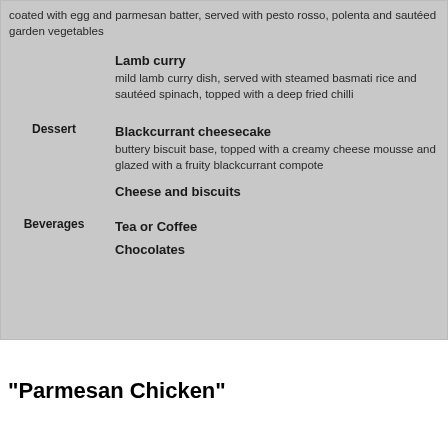coated with egg and parmesan batter, served with pesto rosso, polenta and sautéed garden vegetables
Lamb curry — mild lamb curry dish, served with steamed basmati rice and sautéed spinach, topped with a deep fried chilli
Dessert — Blackcurrant cheesecake — buttery biscuit base, topped with a creamy cheese mousse and glazed with a fruity blackcurrant compote
Cheese and biscuits
Beverages — Tea or Coffee
Chocolates
"Parmesan Chicken"